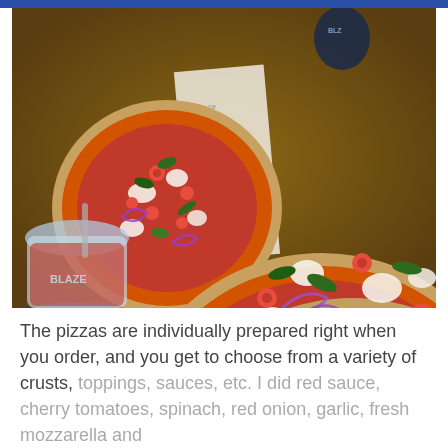[Figure (photo): Overhead view of two pizzas on a wooden table at Blaze Pizza, topped with red sauce, mozzarella, cherry tomatoes, spinach, red onion, and garlic. A red drink in a clear cup is visible in the lower left.]
The pizzas are individually prepared right when you order, and you get to choose from a variety of crusts, toppings, sauces, etc. I did red sauce, cherry tomatoes, spinach, red onion, garlic, fresh mozzarella and